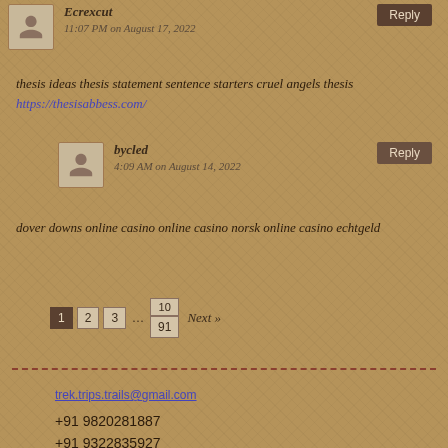Ecrexcut
11:07 PM on August 17, 2022
thesis ideas thesis statement sentence starters cruel angels thesis https://thesisabbess.com/
bycled
4:09 AM on August 14, 2022
dover downs online casino online casino norsk online casino echtgeld
1 2 3 … 10 / 91 Next »
trek.trips.trails@gmail.com
+91 9820281887
+91 9322835927